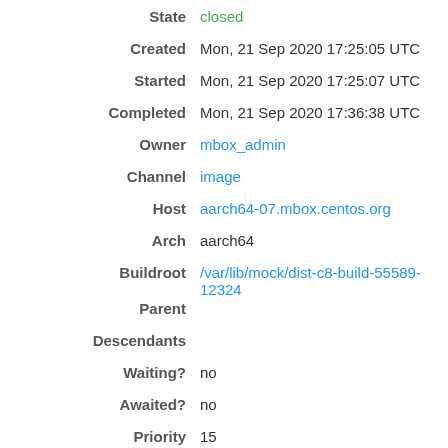| Field | Value |
| --- | --- |
| State | closed |
| Created | Mon, 21 Sep 2020 17:25:05 UTC |
| Started | Mon, 21 Sep 2020 17:25:07 UTC |
| Completed | Mon, 21 Sep 2020 17:36:38 UTC |
| Owner | mbox_admin |
| Channel | image |
| Host | aarch64-07.mbox.centos.org |
| Arch | aarch64 |
| Buildroot | /var/lib/mock/dist-c8-build-55589-12324 |
| Parent |  |
| Descendants |  |
| Waiting? | no |
| Awaited? | no |
| Priority | 15 |
| Weight | 2.00 |
| Result | rm completed successfully |
| Output | build.log (tail)  do_mounts.log (tail) |